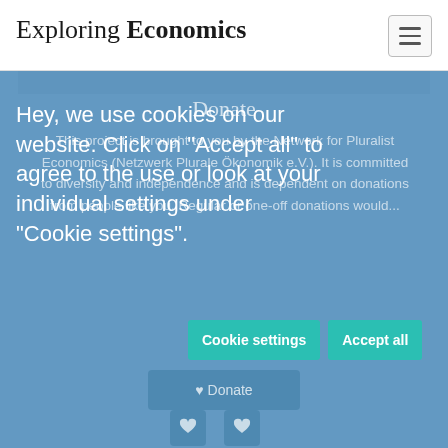Exploring Economics
Donate
This project is brought to you by the Network for Pluralist Economics (Netzwerk Plurale Ökonomik e.V.). It is committed to diversity and independence and is dependent on donations from people like you. Regular or one-off donations would...
Hey, we use cookies on our website. Click on "Accept all" to agree to the use or look at your individual settings under "Cookie settings".
Cookie settings
Accept all